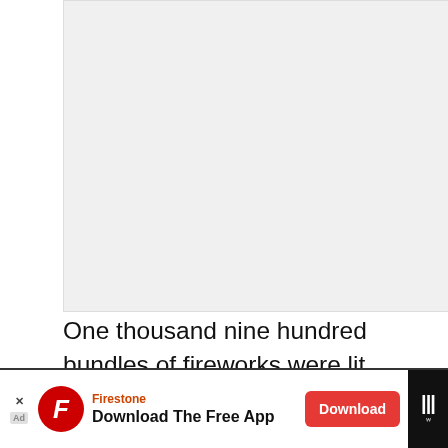[Figure (photo): Blank/placeholder image area at top of article page]
One thousand nine hundred bundles of fireworks were lit up per minute. The fireworks show started at 9:25 pm specifically. These spectacular shows lasted for 25 minutes, lighting up the night sky and enhancing the festivity of the show.
The Cost of Macy’s Fourth of July Fireworks Every Year
[Figure (other): Advertisement banner: Firestone - Download The Free App with Download button]